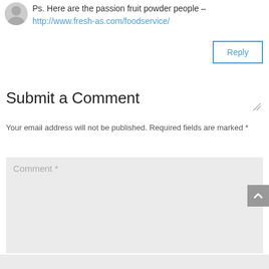Ps. Here are the passion fruit powder people – http://www.fresh-as.com/foodservice/
Reply
Submit a Comment
Your email address will not be published. Required fields are marked *
Comment *